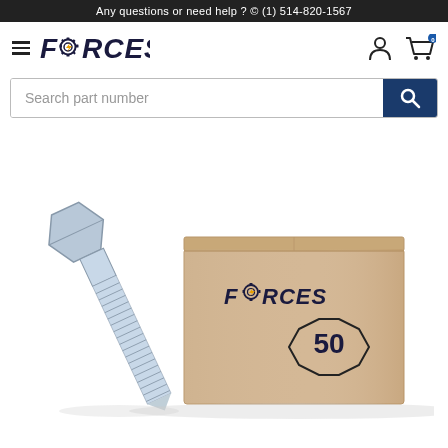Any questions or need help ? © (1) 514-820-1567
[Figure (logo): Forces logo with lightning bolt in the letter O]
Search part number
[Figure (photo): A zinc-plated hex head bolt next to a cardboard box labeled FORCES with the number 50 inside an octagon shape, indicating a box quantity of 50 pieces.]